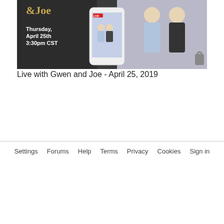[Figure (photo): Promotional image for 'Live with Gwen and Joe' event. Dark background with gold and white text reading '&Joe Thursday, April 25th 3:30pm CST'. Shows a smartphone with a live video stream and a man and woman couple in the background.]
Live with Gwen and Joe - April 25, 2019
Settings   Forums   Help   Terms   Privacy   Cookies   Sign in